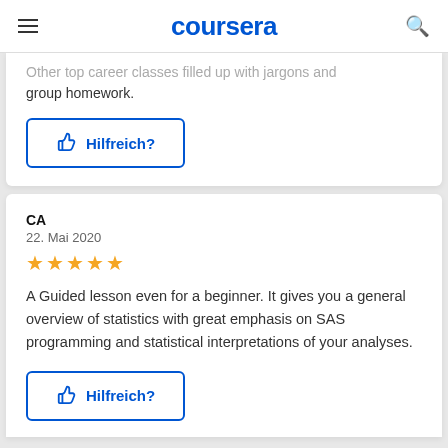coursera
Other top career classes filled up with jargons and group homework.
[Figure (other): Hilfreich? button with thumbs up icon, bordered in blue]
CA
22. Mai 2020
[Figure (other): 5 gold star rating]
A Guided lesson even for a beginner. It gives you a general overview of statistics with great emphasis on SAS programming and statistical interpretations of your analyses.
[Figure (other): Hilfreich? button with thumbs up icon, bordered in blue]